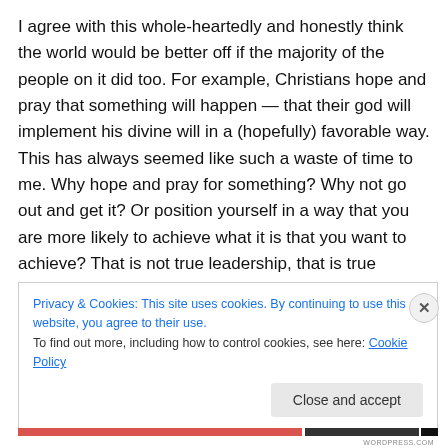I agree with this whole-heartedly and honestly think the world would be better off if the majority of the people on it did too. For example, Christians hope and pray that something will happen — that their god will implement his divine will in a (hopefully) favorable way. This has always seemed like such a waste of time to me. Why hope and pray for something? Why not go out and get it? Or position yourself in a way that you are more likely to achieve what it is that you want to achieve? That is not true leadership, that is true helplessness.
Privacy & Cookies: This site uses cookies. By continuing to use this website, you agree to their use.
To find out more, including how to control cookies, see here: Cookie Policy